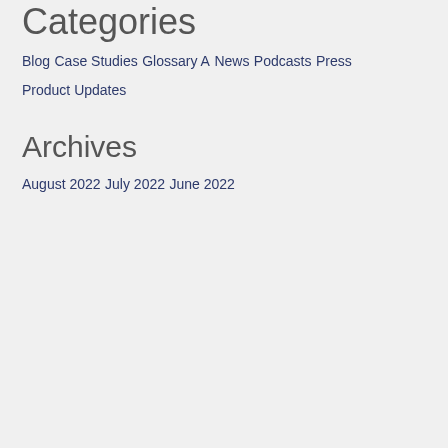Categories
Blog
Case Studies
Glossary A
News
Podcasts
Press
Product Updates
Archives
August 2022
July 2022
June 2022